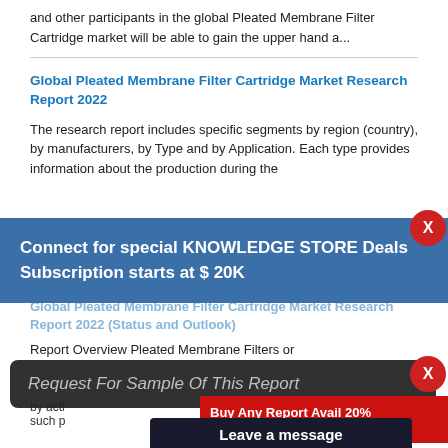and other participants in the global Pleated Membrane Filter Cartridge market will be able to gain the upper hand a...
Global Pleated Membrane Filter Cartridge Market Research Report 2022
The research report includes specific segments by region (country), by manufacturers, by Type and by Application. Each type provides information about the production during the
Connect for special KNOWLEDGE STORE Deals
Subscription starts at $ 20K
Global Pleated Membrane Filter Cartridge Market Research Report 2022 (Status and Outlook)
Report Overview Pleated Membrane Filters or
Request For Sample Of This Report
Buy Any Report Avail 20%
 Code:
Leave a message